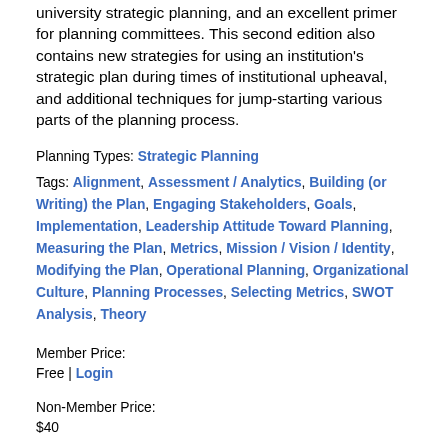university strategic planning, and an excellent primer for planning committees. This second edition also contains new strategies for using an institution's strategic plan during times of institutional upheaval, and additional techniques for jump-starting various parts of the planning process.
Planning Types: Strategic Planning
Tags: Alignment, Assessment / Analytics, Building (or Writing) the Plan, Engaging Stakeholders, Goals, Implementation, Leadership Attitude Toward Planning, Measuring the Plan, Metrics, Mission / Vision / Identity, Modifying the Plan, Operational Planning, Organizational Culture, Planning Processes, Selecting Metrics, SWOT Analysis, Theory
Member Price:
Free | Login
Non-Member Price:
$40